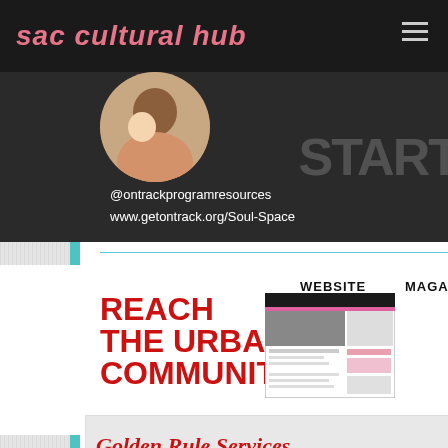sac cultural hub
[Figure (screenshot): Dark banner with a circular photo of a woman and child, social media handles @ontrackprogramresources and www.getontrack.org/Soul-Space, and partial 'START' text on the right]
@ontrackprogramresources
www.getontrack.org/Soul-Space
[Figure (infographic): Reach the Urban Community promotional graphic with WEBSITE label and a screenshot of a website, and partial MAGAZINE label on the right]
REACH
THE URBAN
COMMUNITY
WEBSITE
MAGAZI...
Golden Rule Services